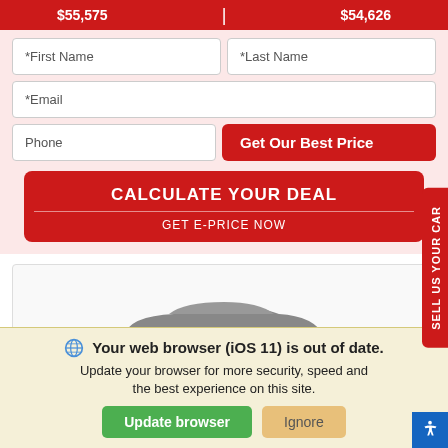$55,575 | $54,626
*First Name
*Last Name
*Email
Phone
Get Our Best Price
CALCULATE YOUR DEAL
GET E-PRICE NOW
SELL US YOUR CAR
[Figure (photo): Partial view of a car silhouette at the bottom of a white/light gray panel]
Your web browser (iOS 11) is out of date. Update your browser for more security, speed and the best experience on this site.
Update browser
Ignore